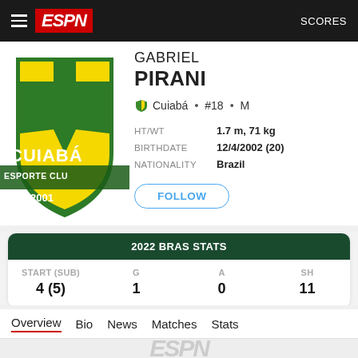ESPN | SCORES
[Figure (logo): Cuiabá Esporte Clube shield logo - green and yellow crest with text CUIABÁ ESPORTE CLUBE and year 2001]
GABRIEL PIRANI
Cuiabá • #18 • M
| Field | Value |
| --- | --- |
| HT/WT | 1.7 m, 71 kg |
| BIRTHDATE | 12/4/2002 (20) |
| NATIONALITY | Brazil |
FOLLOW
| 2022 BRAS STATS |
| --- |
| START (SUB) | G | A | SH |
| 4 (5) | 1 | 0 | 11 |
Overview  Bio  News  Matches  Stats